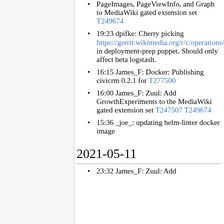PageImages, PageViewInfo, and Graph to MediaWiki gated extension set T249674
19:23 dpifke: Cherry picking https://gerrit.wikimedia.org/r/c/operations/puppet/+/683695 in deployment-prep puppet. Should only affect beta logstash.
16:15 James_F: Docker: Publishing civicrm 0.2.1 for T277500
16:00 James_F: Zuul: Add GrowthExperiments to the MediaWiki gated extension set T247507 T249674
15:36 _joe_: updating helm-linter docker image
2021-05-11
23:32 James_F: Zuul: Add